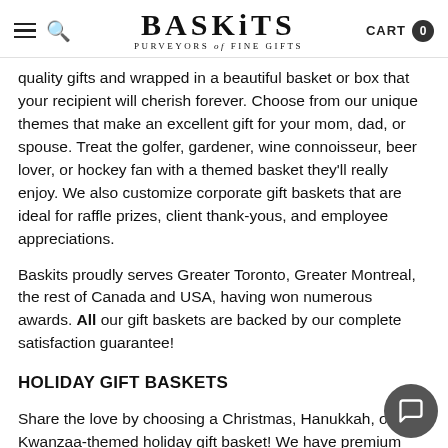BASKITS PURVEYORS of FINE GIFTS | CART 0
quality gifts and wrapped in a beautiful basket or box that your recipient will cherish forever. Choose from our unique themes that make an excellent gift for your mom, dad, or spouse. Treat the golfer, gardener, wine connoisseur, beer lover, or hockey fan with a themed basket they'll really enjoy. We also customize corporate gift baskets that are ideal for raffle prizes, client thank-yous, and employee appreciations.
Baskits proudly serves Greater Toronto, Greater Montreal, the rest of Canada and USA, having won numerous awards. All our gift baskets are backed by our complete satisfaction guarantee!
HOLIDAY GIFT BASKETS
Share the love by choosing a Christmas, Hanukkah, or Kwanzaa-themed holiday gift basket! We have premium products from luxury brands, so everyone can join the pa... and have a great time. Cr... something special? Baskits...